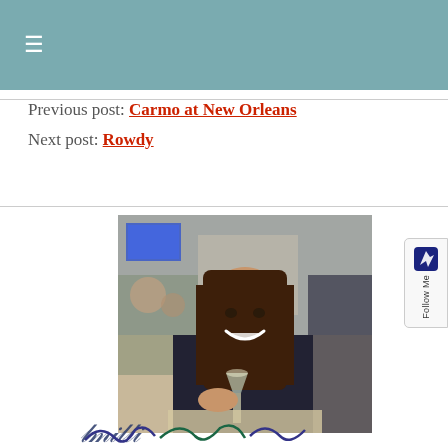≡ (hamburger menu icon)
Previous post: Carmo at New Orleans
Next post: Rowdy
[Figure (photo): Woman with long brown hair sitting at a restaurant table, smiling and holding a champagne glass. Restaurant interior visible in background.]
[Figure (logo): Partial decorative script/logo text at the bottom of the image]